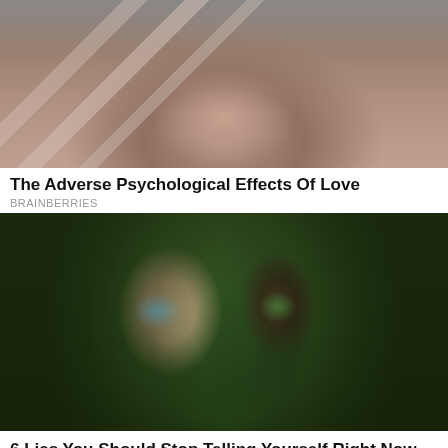[Figure (photo): Close-up photo of a woman's lower face with transparent tape strips across her mouth, suggesting silencing or censorship. Dark background.]
The Adverse Psychological Effects Of Love
BRAINBERRIES
[Figure (photo): Surreal composite photo of a man's face split in half: the left side is a normal human face with a blue eye, the right side is made of tree bark, moss, and roots with a green eye, set against a blurred green forest background.]
6 Lies You Should Stop Telling Yourself Right Now